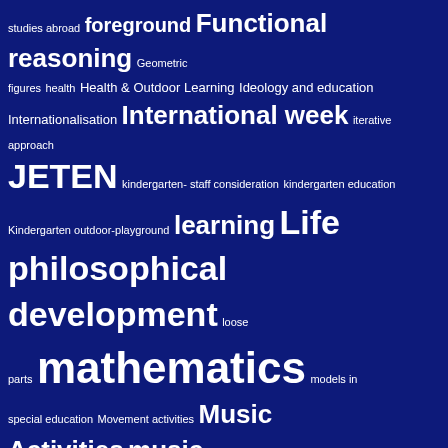[Figure (other): Word cloud on dark navy blue background containing education-related keywords in white text, with varying font sizes indicating frequency/importance. Terms include: studies abroad, foreground, Functional reasoning, Geometric figures, health, Health & Outdoor Learning, Ideology and education, Internationalisation, International week, iterative approach, JETEN, kindergarten-staff consideration, kindergarten education, Kindergarten outdoor-playground, learning, Life philosophical development, loose parts, mathematics, models in special education, Movement activities, Music Activities, music education, outdoor learning, parental choices, physical education, Physical Punishment, pictograms, Playground, preservice elementary teacher education, Problem solving, problem solving strategies, professional development, Project-based learning, quantitative research, real graphs, reasoning, reflection, reflective, Reflective learning, Reflective practice, Research-teaching nexus, risky play, science, Science teacher, student evaluation, students as researchers, Tasks, teacher education, teacher professional development, Teacher training, Teacher well-being, thinking styles, visualization, visual methodologies]